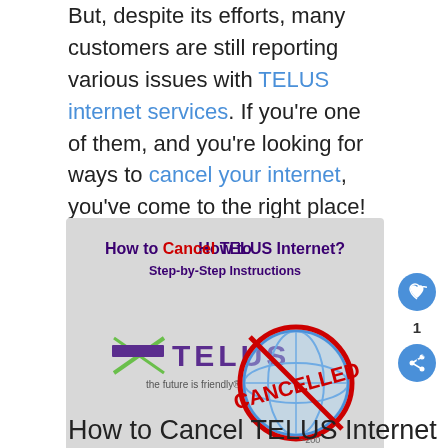But, despite its efforts, many customers are still reporting various issues with TELUS internet services. If you're one of them, and you're looking for ways to cancel your internet, you've come to the right place!
[Figure (infographic): Infographic titled 'How to Cancel TELUS Internet? Step-by-Step Instructions' showing TELUS logo with tagline 'the future is friendly' and a globe icon with a red CANCELLED stamp overlay. Sidebar shows a heart button, number 1, and share button.]
How to Cancel TELUS Internet